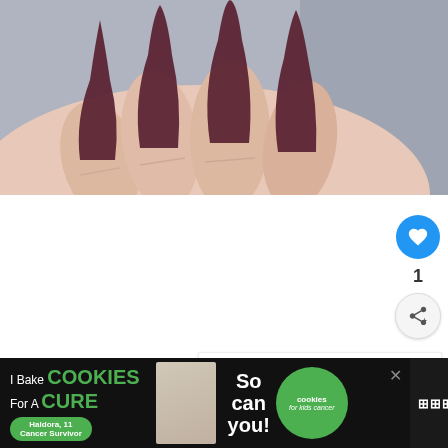[Figure (photo): Close-up photograph of a hand with long stiletto-shaped matte dark burgundy/plum nails against a grey fuzzy background]
[Figure (infographic): Like button (blue circle with white heart icon), count of 1, and share button (grey circle with share icon) on the right side of the page]
[Figure (screenshot): What's Next panel with thumbnail of pink nails and text '75 Mind-Boggling...']
[Figure (screenshot): Advertisement banner at bottom: 'I Bake COOKIES For A CURE - Haldora, 11 Cancer Survivor - So can you! cookies for kids cancer' with brand mark on right]